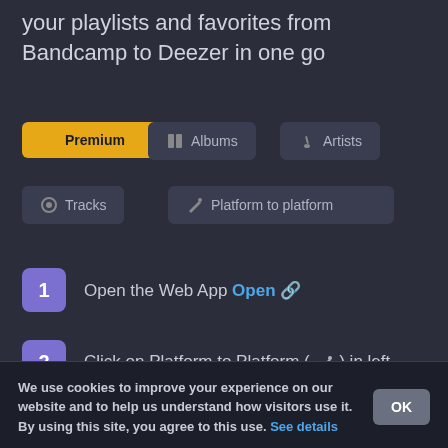your playlists and favorites from Bandcamp to Deezer in one go
Premium (active tab)
Albums
Artists
Tracks
Platform to platform
1  Open the Web App Open [external link]
2  Click on Platform to Platform (icon) in left
We use cookies to improve your experience on our website and to help us understand how visitors use it. By using this site, you agree to this use. See details